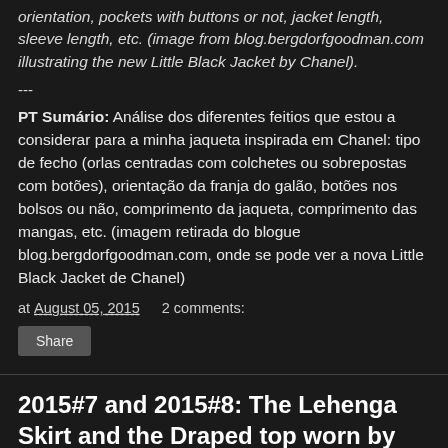orientation, pockets with buttons or not, jacket length, sleeve length, etc. (image from blog.bergdorfgoodman.com illustrating the new Little Black Jacket by Chanel).
---
PT Sumário: Análise dos diferentes feitios que estou a considerar para a minha jaqueta inspirada em Chanel: tipo de fecho (orlas centradas com colchetes ou sobrepostas com botões), orientação da franja do galão, botões nos bolsos ou não, comprimento da jaqueta, comprimento das mangas, etc. (imagem retirada do blogue blog.bergdorfgoodman.com, onde se pode ver a nova Little Black Jacket de Chanel)
at August 05, 2015   2 comments:
Share
2015#7 and 2015#8: The Lehenga Skirt and the Draped top worn by me. A saia